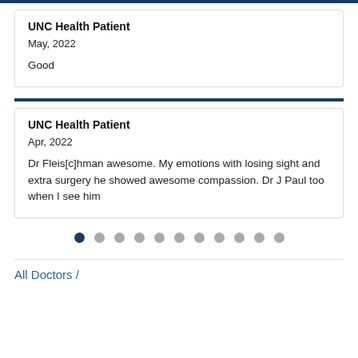UNC Health Patient
May, 2022
Good
UNC Health Patient
Apr, 2022
Dr Fleis[c]hman awesome. My emotions with losing sight and extra surgery he showed awesome compassion. Dr J Paul too when I see him
All Doctors /